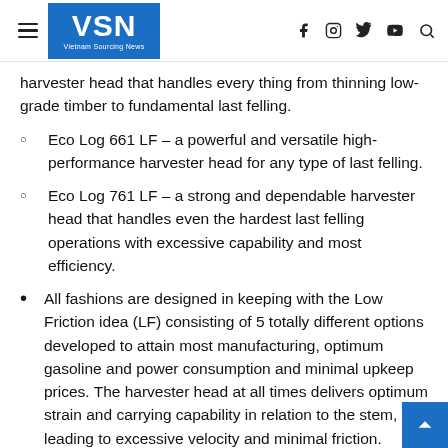VSN – Vietnam Sourcing News
harvester head that handles every thing from thinning low-grade timber to fundamental last felling.
Eco Log 661 LF – a powerful and versatile high-performance harvester head for any type of last felling.
Eco Log 761 LF – a strong and dependable harvester head that handles even the hardest last felling operations with excessive capability and most efficiency.
All fashions are designed in keeping with the Low Friction idea (LF) consisting of 5 totally different options developed to attain most manufacturing, optimum gasoline and power consumption and minimal upkeep prices. The harvester head at all times delivers optimum strain and carrying capability in relation to the stem, leading to excessive velocity and minimal friction.
Eco Log Noticed Management – a patented system